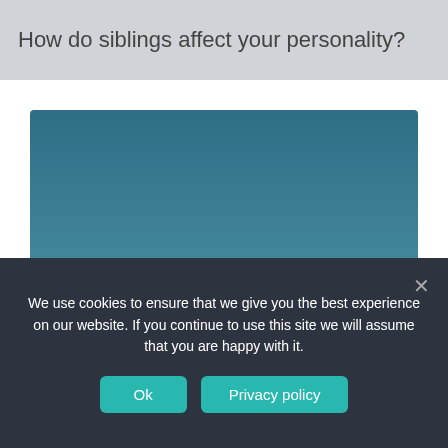How do siblings affect your personality?
[Figure (screenshot): A screenshot of a website showing an image with a teal/blue sky background. In the lower portion of the image is a white card with rounded corners showing a logo icon at the top, bold text 'Reminder', and body text 'It's time for a new chapter. Get a sharp and quick...' The image is partially obscured by a cookie consent banner overlay at the bottom.]
We use cookies to ensure that we give you the best experience on our website. If you continue to use this site we will assume that you are happy with it.
Ok
Privacy policy